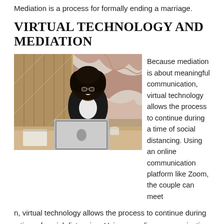Mediation is a process for formally ending a marriage.
VIRTUAL TECHNOLOGY AND MEDIATION
[Figure (photo): A smiling woman with natural curly hair, wearing a black blazer over a white top, sitting at a desk with an open laptop in front of her. She is in a modern office setting with textured wall panels and abstract art visible in the background.]
Because mediation is about meaningful communication, virtual technology allows the process to continue during a time of social distancing. Using an online communication platform like Zoom, the couple can meet